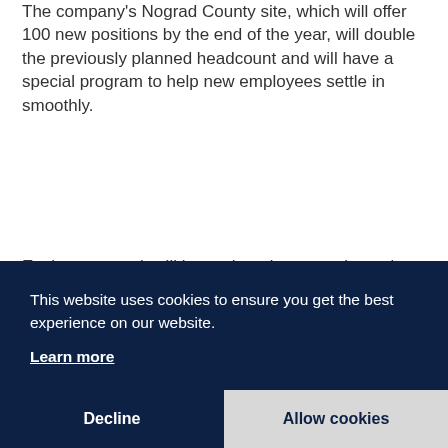The company's Nograd County site, which will offer 100 new positions by the end of the year, will double the previously planned headcount and will have a special program to help new employees settle in smoothly.
Each new recruit will be assigned an experienced colleague who, alongside the team leader or shift foreman, will personally supervise and support the new employee during the initial period. Although the workflow in the factory is industrial, there are several workstations that are not overburdening for women, p... th...
A... M... th... th... p...
"We are also applying technological innovations to
[Figure (screenshot): Cookie consent banner overlay with dark navy background. Text reads: 'This website uses cookies to ensure you get the best experience on our website.' with a 'Learn more' underlined link. Two buttons at the bottom: 'Decline' on the left (dark) and 'Allow cookies' on the right (light grey).]